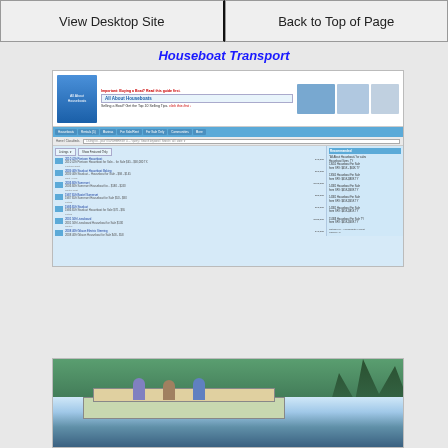View Desktop Site | Back to Top of Page
Houseboat Transport
[Figure (screenshot): Screenshot of a houseboat classified ads website showing listings, navigation bar, and sidebar content]
Classified Ads - boats for sale
[Figure (photo): Photo of a houseboat with people on the deck, surrounded by trees and water]